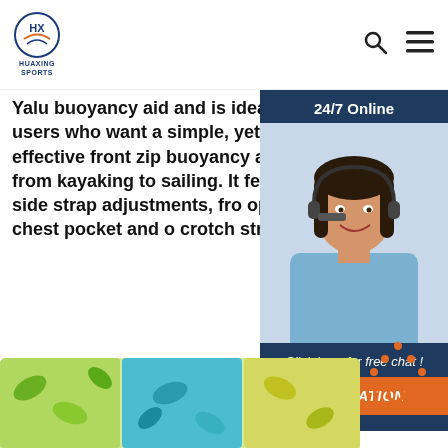HUAXING SPORTS
Yalu buoyancy aid and is ideal for recreational users who want a simple, yet comfortable and effective front zip buoyancy aid for a uses, from kayaking to sailing. It featu shoulder & side strap adjustments, fro opening, front zip chest pocket and o crotch strap ...
[Figure (photo): Customer service representative woman with headset, 24/7 Online chat widget with dark blue background, orange QUOTATION button, and 'Click here for free chat!' text]
Get Price
[Figure (illustration): TOP button with orange dots forming a triangle above the word TOP in orange text]
[Figure (photo): Colorful buoyancy aid / life vest with blue, yellow and green leaf pattern visible at bottom of page]